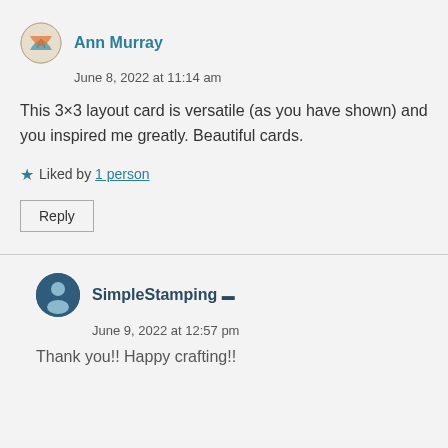Ann Murray
June 8, 2022 at 11:14 am
This 3×3 layout card is versatile (as you have shown) and you inspired me greatly. Beautiful cards.
Liked by 1 person
Reply
SimpleStamping
June 9, 2022 at 12:57 pm
Thank you!! Happy crafting!!